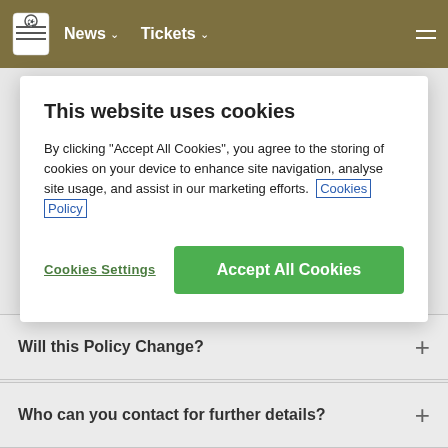News  Tickets
This website uses cookies
By clicking "Accept All Cookies", you agree to the storing of cookies on your device to enhance site navigation, analyse site usage, and assist in our marketing efforts. Cookies Policy
Cookies Settings
Accept All Cookies
Will this Policy Change?
Who can you contact for further details?
Cookies Policy